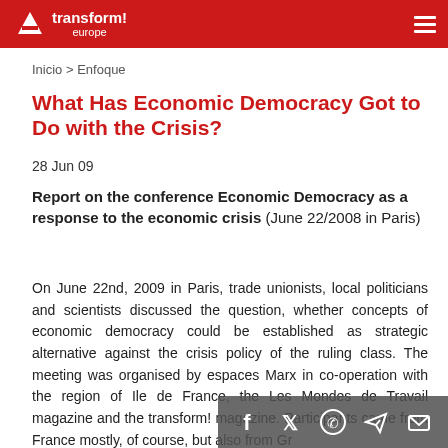transform! europe
Inicio > Enfoque
What Has Economic Democracy Got to Do with the Crisis?
28 Jun 09
Report on the conference Economic Democracy as a response to the economic crisis (June 22/2008 in Paris)
On June 22nd, 2009 in Paris, trade unionists, local politicians and scientists discussed the question, whether concepts of economic democracy could be established as strategic alternative against the crisis policy of the ruling class. The meeting was organised by espaces Marx in co-operation with the region of Ile de France, the Les Mondes de Travail magazine and the transform! magazine. Participants came from France mostly, of course, but also from Gr...